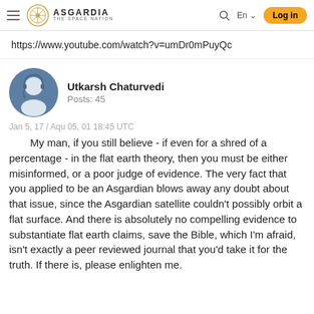Asgardia – The Space Nation | Log in
https://www.youtube.com/watch?v=umDr0mPuyQc
[Figure (illustration): User avatar: circular profile image of a person with a headset on a blue/grey background]
Utkarsh Chaturvedi
Posts: 45
Jan 5, 17 / Aqu 05, 01 18:45 UTC
My man, if you still believe - if even for a shred of a percentage - in the flat earth theory, then you must be either misinformed, or a poor judge of evidence. The very fact that you applied to be an Asgardian blows away any doubt about that issue, since the Asgardian satellite couldn't possibly orbit a flat surface. And there is absolutely no compelling evidence to substantiate flat earth claims, save the Bible, which I'm afraid, isn't exactly a peer reviewed journal that you'd take it for the truth. If there is, please enlighten me.